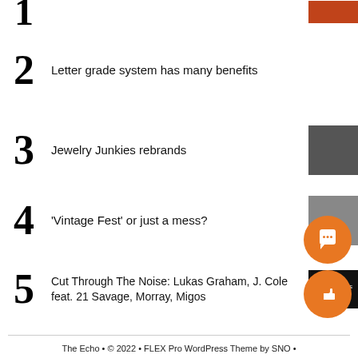1
2 Letter grade system has many benefits
3 Jewelry Junkies rebrands
4 'Vintage Fest' or just a mess?
5 Cut Through The Noise: Lukas Graham, J. Cole feat. 21 Savage, Morray, Migos
The Echo • © 2022 • FLEX Pro WordPress Theme by SNO •